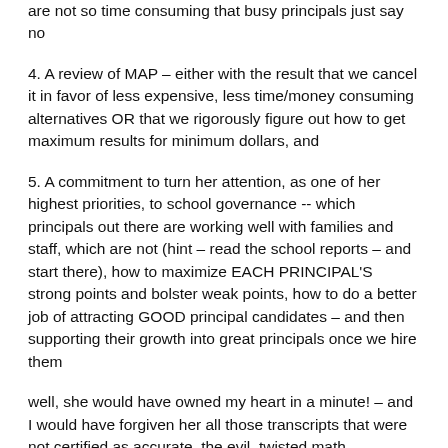are not so time consuming that busy principals just say no
4. A review of MAP – either with the result that we cancel it in favor of less expensive, less time/money consuming alternatives OR that we rigorously figure out how to get maximum results for minimum dollars, and
5. A commitment to turn her attention, as one of her highest priorities, to school governance -- which principals out there are working well with families and staff, which are not (hint – read the school reports – and start there), how to maximize EACH PRINCIPAL'S strong points and bolster weak points, how to do a better job of attracting GOOD principal candidates – and then supporting their growth into great principals once we hire them
well, she would have owned my heart in a minute! – and I would have forgiven her all those transcripts that were not certified as accurate, the evil, twisted math committee process that brought us Discovery Math, the TfA blunder, and whatever may have happened